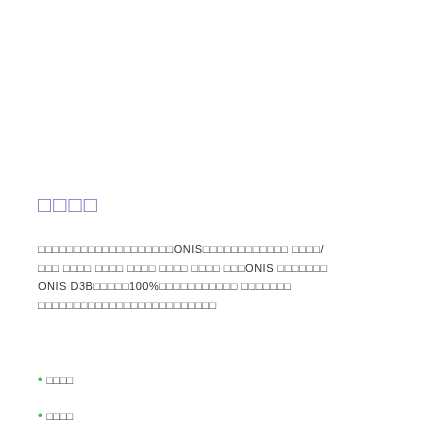□□□□
□□□□□□□□□□□□□□□□□□□ONIS□□□□□□□□□□□□ □□□□/ □□□ □□□□ □□□□ □□□□ □□□□ □□□□ □□□ONIS □□□□□□□ ONIS D3B□□□□□100%□□□□□□□□□□□ □□□□□□□ □□□□□□□□□□□□□□□□□□□□□□□□□
•□□□□
•□□□□